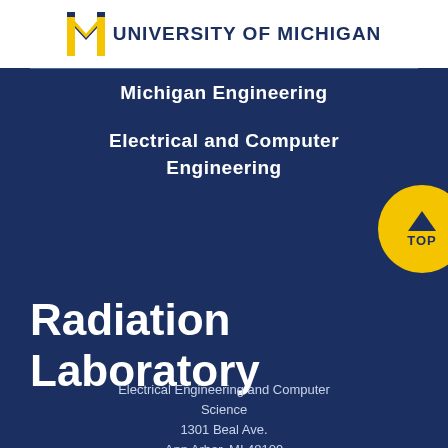[Figure (logo): University of Michigan block M logo in blue and yellow with text UNIVERSITY OF MICHIGAN]
Michigan Engineering
Electrical and Computer Engineering
[Figure (illustration): Yellow circular TOP button with upward chevron arrow]
Radiation Laboratory
Electrical Engineering and Computer Science
1301 Beal Ave.
Ann Arbor, MI 48109